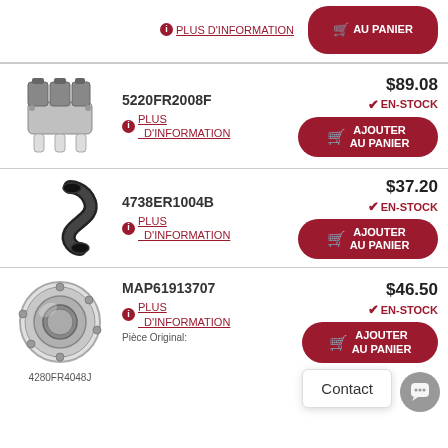PLUS D'INFORMATION | AU PANIER (top partial row, cut off)
[Figure (photo): Water inlet valve part, triple solenoid valve with hoses]
5220FR2008F
$89.08
EN-STOCK
PLUS D'INFORMATION
AJOUTER AU PANIER
[Figure (photo): Black rubber drain hose with curved S-shape]
4738ER1004B
$37.20
EN-STOCK
PLUS D'INFORMATION
AJOUTER AU PANIER
[Figure (photo): Drum bearing / ball bearing ring, silver metal, round]
MAP61913707
$46.50
EN-STOCK
PLUS D'INFORMATION
AJOUTER AU PANIER
Pièce Original:
4280FR4048J
Contact